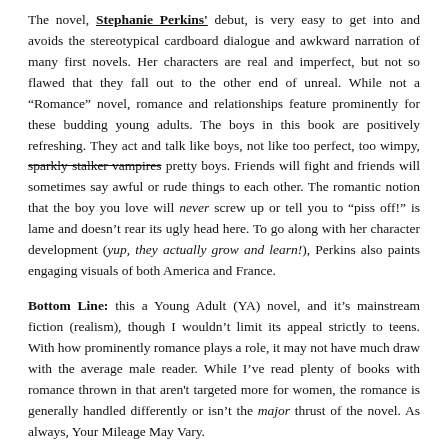The novel, Stephanie Perkins' debut, is very easy to get into and avoids the stereotypical cardboard dialogue and awkward narration of many first novels. Her characters are real and imperfect, but not so flawed that they fall out to the other end of unreal. While not a “Romance” novel, romance and relationships feature prominently for these budding young adults. The boys in this book are positively refreshing. They act and talk like boys, not like too perfect, too wimpy, sparkly stalker vampires pretty boys. Friends will fight and friends will sometimes say awful or rude things to each other. The romantic notion that the boy you love will never screw up or tell you to “piss off!” is lame and doesn’t rear its ugly head here. To go along with her character development (yup, they actually grow and learn!), Perkins also paints engaging visuals of both America and France.
Bottom Line: this a Young Adult (YA) novel, and it’s mainstream fiction (realism), though I wouldn’t limit its appeal strictly to teens. With how prominently romance plays a role, it may not have much draw with the average male reader. While I’ve read plenty of books with romance thrown in that aren't targeted more for women, the romance is generally handled differently or isn’t the major thrust of the novel. As always, Your Mileage May Vary.